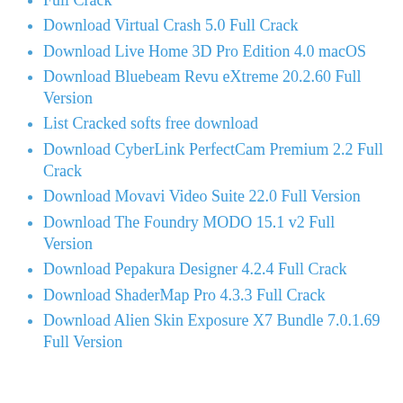Full Crack
Download Virtual Crash 5.0 Full Crack
Download Live Home 3D Pro Edition 4.0 macOS
Download Bluebeam Revu eXtreme 20.2.60 Full Version
List Cracked softs free download
Download CyberLink PerfectCam Premium 2.2 Full Crack
Download Movavi Video Suite 22.0 Full Version
Download The Foundry MODO 15.1 v2 Full Version
Download Pepakura Designer 4.2.4 Full Crack
Download ShaderMap Pro 4.3.3 Full Crack
Download Alien Skin Exposure X7 Bundle 7.0.1.69 Full Version